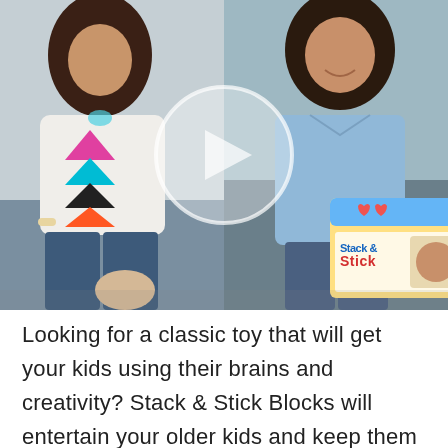[Figure (photo): Video thumbnail showing two women sitting side by side. Woman on the left wears a white top with colorful geometric print and jeans. Woman on the right wears a light blue shirt and holds a 'Stack & Stick' blocks toy box. A semi-transparent circular play button overlay is centered on the image.]
Looking for a classic toy that will get your kids using their brains and creativity? Stack & Stick Blocks will entertain your older kids and keep them away from the television. Watch Pam and Melisa as they review the blocks on Project Nursery's YouTube Channel. [...]